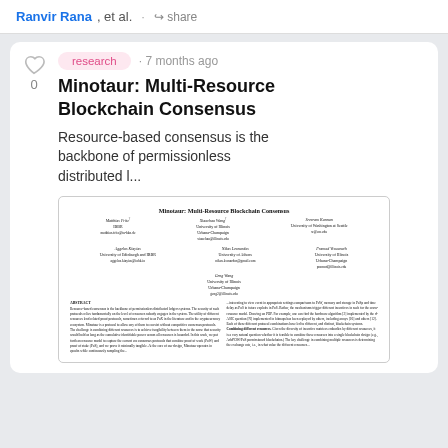Ranvir Rana, et al. · share
research · 7 months ago
Minotaur: Multi-Resource Blockchain Consensus
Resource-based consensus is the backbone of permissionless distributed l...
[Figure (screenshot): Thumbnail of the paper 'Minotaur: Multi-Resource Blockchain Consensus' showing title, author affiliations, and beginning of abstract text in a small document preview.]